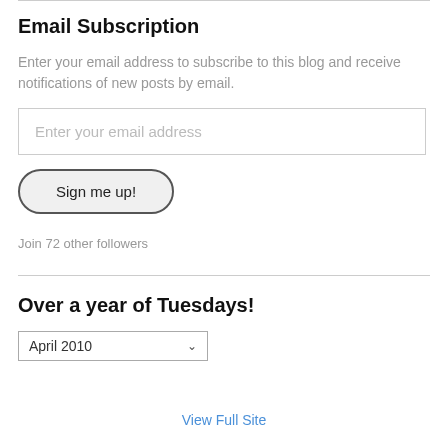Email Subscription
Enter your email address to subscribe to this blog and receive notifications of new posts by email.
Enter your email address
Sign me up!
Join 72 other followers
Over a year of Tuesdays!
April 2010
View Full Site